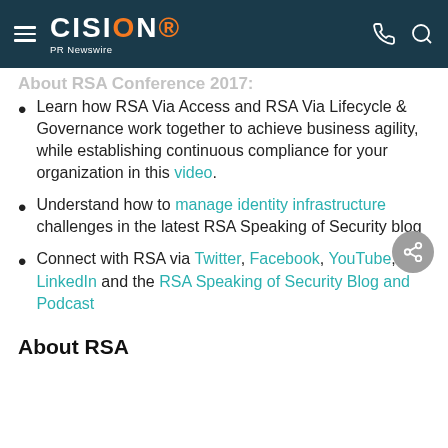CISION PR Newswire
Learn how RSA Via Access and RSA Via Lifecycle & Governance work together to achieve business agility, while establishing continuous compliance for your organization in this video.
Understand how to manage identity infrastructure challenges in the latest RSA Speaking of Security blog
Connect with RSA via Twitter, Facebook, YouTube, LinkedIn and the RSA Speaking of Security Blog and Podcast
About RSA